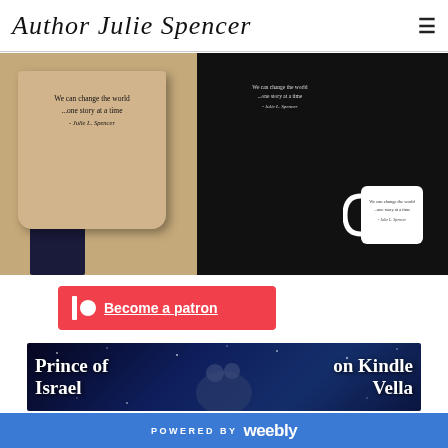Author Julie Spencer
[Figure (photo): Merchandise photo showing a tan tote bag held by a person wearing dark pants, and on the right side a black sweatshirt and a white mug with the quote 'We can change the world ...one story at a time - Julie L. Spencer']
[Figure (infographic): Red Patreon button with Patreon icon and text 'Become a patron']
[Figure (photo): Book banner for 'Prince of Israel on Kindle Vella' with a couple silhouette against a dark starry blue background]
POWERED BY weebly